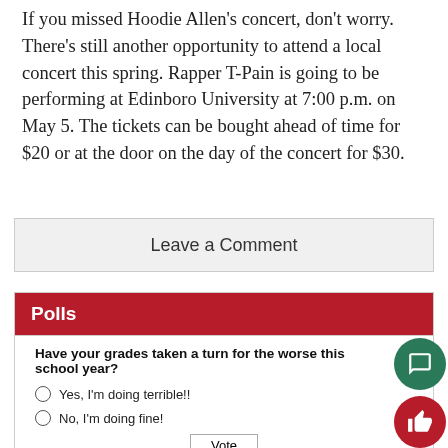If you missed Hoodie Allen's concert, don't worry. There's still another opportunity to attend a local concert this spring. Rapper T-Pain is going to be performing at Edinboro University at 7:00 p.m. on May 5. The tickets can be bought ahead of time for $20 or at the door on the day of the concert for $30.
Leave a Comment
Polls
Have your grades taken a turn for the worse this school year?
Yes, I'm doing terrible!!
No, I'm doing fine!
Vote
View Results